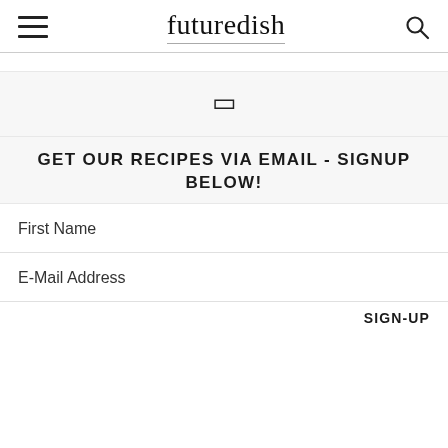futuredish
GET OUR RECIPES VIA EMAIL - SIGNUP BELOW!
First Name
E-Mail Address
SIGN-UP